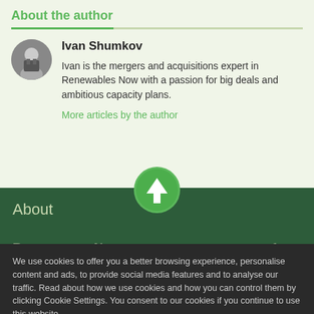About the author
Ivan Shumkov
Ivan is the mergers and acquisitions expert in Renewables Now with a passion for big deals and ambitious capacity plans.
More articles by the author
About
Renewables Now is...
We use cookies to offer you a better browsing experience, personalise content and ads, to provide social media features and to analyse our traffic. Read about how we use cookies and how you can control them by clicking Cookie Settings. You consent to our cookies if you continue to use this website.
Cookie settings    Accept cookies